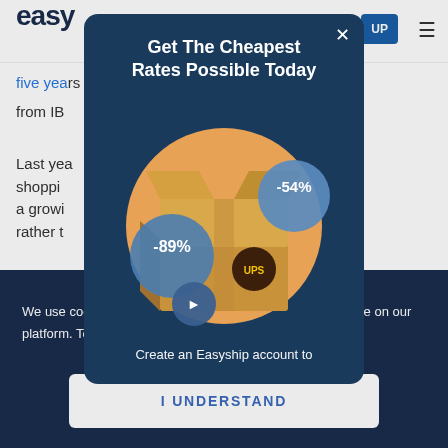easy   UP ≡
five yea...ex
from IB...
Last yea...
shoppi...Today,
a growi...online
rather t...sist,
[Figure (screenshot): Modal popup with dark navy background showing 'Get The Cheapest Rates Possible Today' with an illustration of a UPS cardboard shipping box on an orange circle background, with two blue circular badges showing discount percentages: -89% (bottom left) and -54% (top right), plus USPS and UPS carrier logos. Text at bottom reads 'Create an Easyship account to']
We use cookies to ensure that users get the best experience on our platform. To see how we use cookies read more
I UNDERSTAND